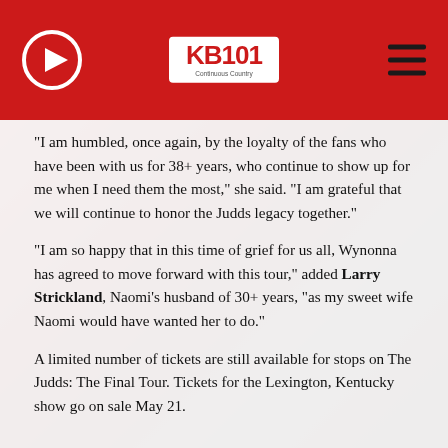[Figure (logo): KB101 Continuous Country radio station logo in red and white, with a circular badge design]
“I am humbled, once again, by the loyalty of the fans who have been with us for 38+ years, who continue to show up for me when I need them the most,” she said. “I am grateful that we will continue to honor the Judds legacy together.”
“I am so happy that in this time of grief for us all, Wynonna has agreed to move forward with this tour,” added Larry Strickland, Naomi’s husband of 30+ years, “as my sweet wife Naomi would have wanted her to do.”
A limited number of tickets are still available for stops on The Judds: The Final Tour. Tickets for the Lexington, Kentucky show go on sale May 21.